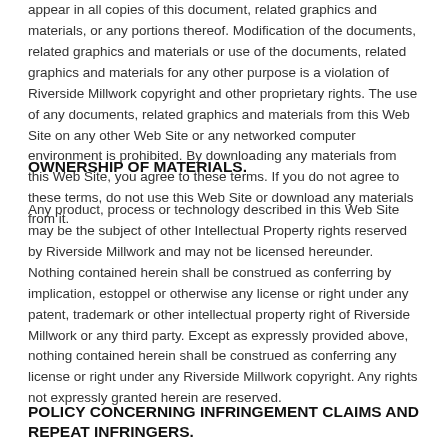appear in all copies of this document, related graphics and materials, or any portions thereof. Modification of the documents, related graphics and materials or use of the documents, related graphics and materials for any other purpose is a violation of Riverside Millwork copyright and other proprietary rights. The use of any documents, related graphics and materials from this Web Site on any other Web Site or any networked computer environment is prohibited. By downloading any materials from this Web Site, you agree to these terms. If you do not agree to these terms, do not use this Web Site or download any materials from it.
OWNERSHIP OF MATERIALS.
Any product, process or technology described in this Web Site may be the subject of other Intellectual Property rights reserved by Riverside Millwork and may not be licensed hereunder. Nothing contained herein shall be construed as conferring by implication, estoppel or otherwise any license or right under any patent, trademark or other intellectual property right of Riverside Millwork or any third party. Except as expressly provided above, nothing contained herein shall be construed as conferring any license or right under any Riverside Millwork copyright. Any rights not expressly granted herein are reserved.
POLICY CONCERNING INFRINGEMENT CLAIMS AND REPEAT INFRINGERS.